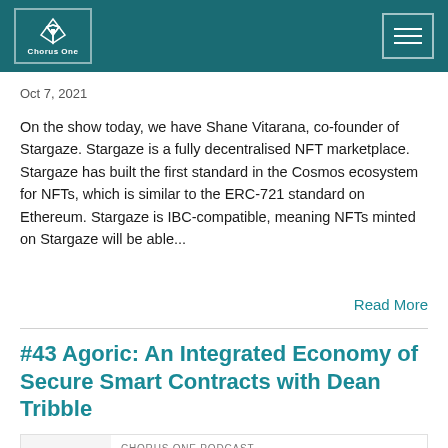Chorus One
Oct 7, 2021
On the show today, we have Shane Vitarana, co-founder of Stargaze. Stargaze is a fully decentralised NFT marketplace. Stargaze has built the first standard in the Cosmos ecosystem for NFTs, which is similar to the ERC-721 standard on Ethereum. Stargaze is IBC-compatible, meaning NFTs minted on Stargaze will be able...
Read More
#43 Agoric: An Integrated Economy of Secure Smart Contracts with Dean Tribble
[Figure (other): Podcast player card with play button and podcast metadata for '#43 Agoric: An Integrated Economy of Secure ...' from CHORUS ONE PODCAST]